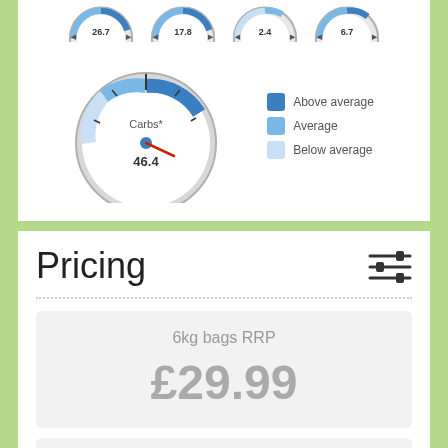[Figure (infographic): Gauge dials showing nutritional values: 26.7, 17.8, 2.4, 6.7 (top row, partially visible), and Carbs* = 46.4 (center). Legend shows Above average (dark blue), Average (medium blue), Below average (light blue).]
Pricing
6kg bags RRP
£29.99